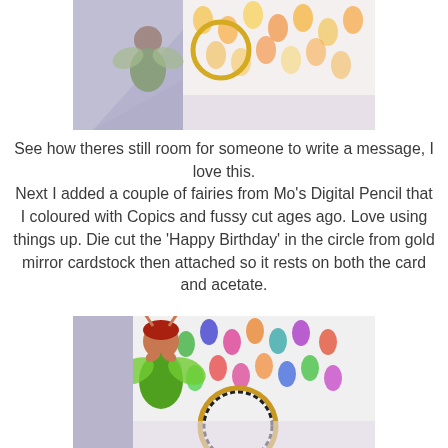[Figure (photo): Close-up photo of a handmade card showing a fairy figure on a purple/lavender card base with colorful raindrop patterned acetate and a gold circular die cut element]
See how theres still room for someone to write a message, I love this.
Next I added a couple of fairies from Mo's Digital Pencil that I coloured with Copics and fussy cut ages ago. Love using things up. Die cut the 'Happy Birthday' in the circle from gold mirror cardstock then attached so it rests on both the card and acetate.
[Figure (photo): Photo of a handmade birthday card showing a fairy character coloured with Copics on a lavender card with colorful raindrop patterned background and a gold/black circular Happy Birthday die cut]